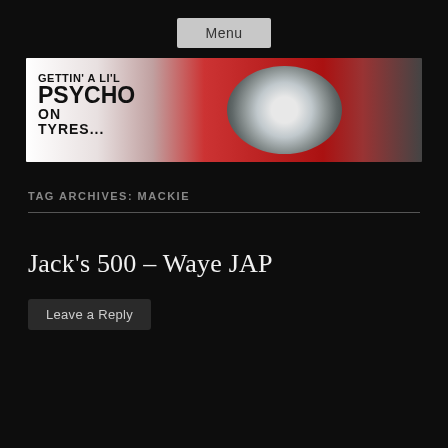Menu
[Figure (photo): Banner image for a blog called 'Gettin' A Li'l Psycho On Tyres...' showing a blurred car headlight with red bodywork, white background on left fading to dark on right.]
TAG ARCHIVES: MACKIE
Jack's 500 – Waye JAP
Leave a Reply